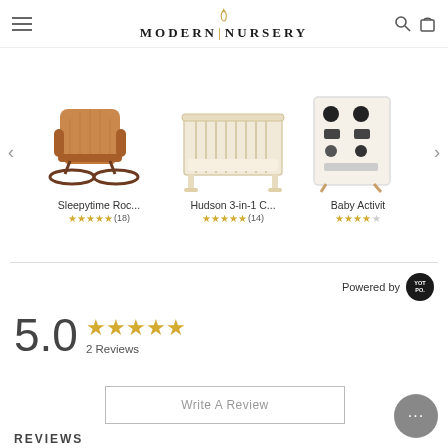MODERN NURSERY
[Figure (photo): Three product images in a carousel: a Sleepytime Rocker (brown leather rocking chair), Hudson 3-in-1 Crib (white wooden crib), and Baby Activity board (activity board with black and white graphics).]
Sleepytime Roc...
★★★★★ (18)
Hudson 3-in-1 C...
★★★★★ (14)
Baby Activit
★★★★★
Powered by
5.0
★★★★★ 2 Reviews
Write A Review
REVIEWS